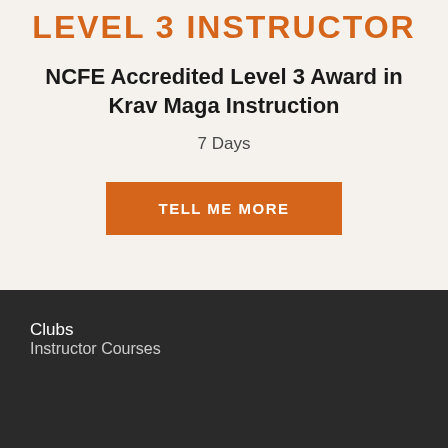LEVEL 3 INSTRUCTOR
NCFE Accredited Level 3 Award in Krav Maga Instruction
7 Days
TELL ME MORE
Clubs
Instructor Courses